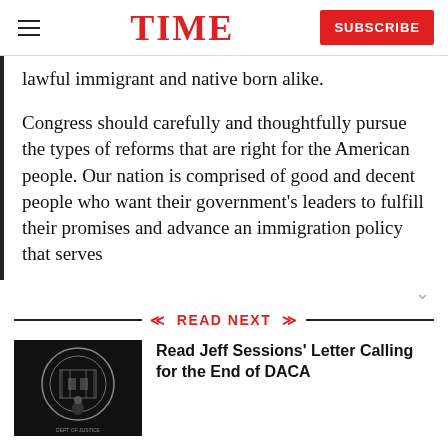TIME — SUBSCRIBE
lawful immigrant and native born alike.
Congress should carefully and thoughtfully pursue the types of reforms that are right for the American people. Our nation is comprised of good and decent people who want their government's leaders to fulfill their promises and advance an immigration policy that serves
READ NEXT
[Figure (photo): Jeff Sessions standing at podium in front of Department of Justice seal]
Read Jeff Sessions' Letter Calling for the End of DACA